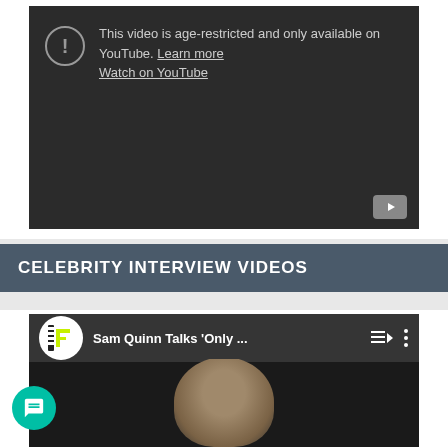[Figure (screenshot): Age-restricted YouTube video embed on dark background showing warning icon and text: 'This video is age-restricted and only available on YouTube. Learn more. Watch on YouTube.' with YouTube play button in bottom-right corner.]
CELEBRITY INTERVIEW VIDEOS
[Figure (screenshot): YouTube video embed showing channel logo (green F icon on black/white circle), title 'Sam Quinn Talks Only ...', playlist and more options icons, and a man's head visible at bottom of the frame.]